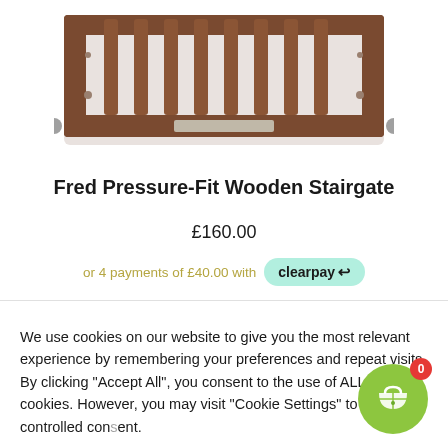[Figure (photo): Photo of a dark brown wooden pressure-fit stairgate, showing the top portion with vertical slats and metal hardware at the sides]
Fred Pressure-Fit Wooden Stairgate
£160.00
or 4 payments of £40.00 with clearpay
We use cookies on our website to give you the most relevant experience by remembering your preferences and repeat visits. By clicking "Accept All", you consent to the use of ALL the cookies. However, you may visit "Cookie Settings" to provide a controlled consent.
Cookie Settings
Accept All